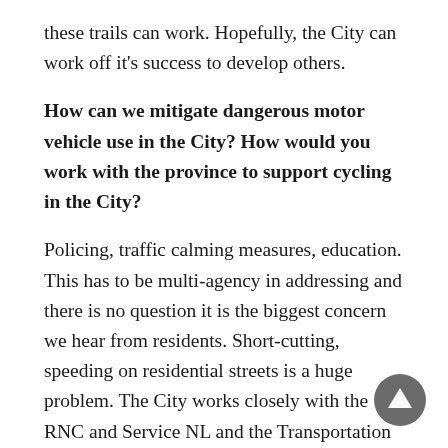these trails can work. Hopefully, the City can work off it's success to develop others.
How can we mitigate dangerous motor vehicle use in the City? How would you work with the province to support cycling in the City?
Policing, traffic calming measures, education. This has to be multi-agency in addressing and there is no question it is the biggest concern we hear from residents. Short-cutting, speeding on residential streets is a huge problem. The City works closely with the RNC and Service NL and the Transportation